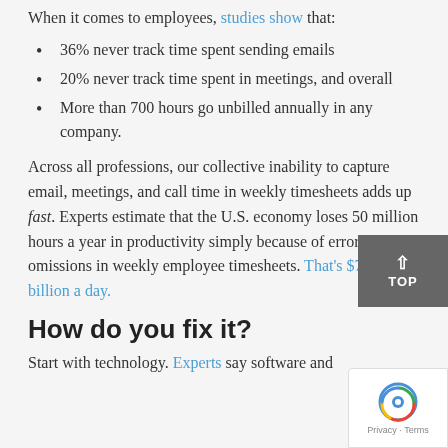When it comes to employees, studies show that:
36% never track time spent sending emails
20% never track time spent in meetings, and overall
More than 700 hours go unbilled annually in any company.
Across all professions, our collective inability to capture email, meetings, and call time in weekly timesheets adds up fast. Experts estimate that the U.S. economy loses 50 million hours a year in productivity simply because of errors or omissions in weekly employee timesheets. That's $7.4 billion a day.
How do you fix it?
Start with technology. Experts say software and